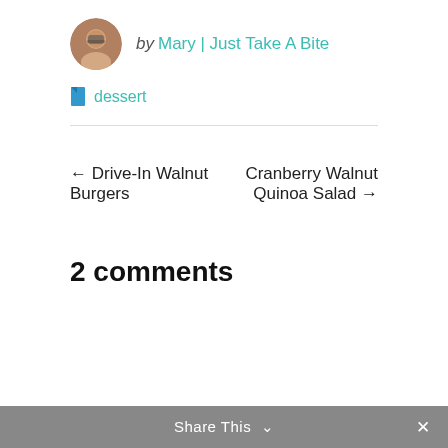by Mary | Just Take A Bite
dessert
← Drive-In Walnut Burgers
Cranberry Walnut Quinoa Salad →
2 comments
Share This ∨   ✕